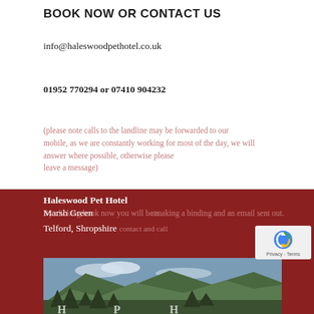BOOK NOW OR CONTACT US
info@haleswoodpethotel.co.uk
01952 770294 or 07410 904232
(please note calls to the landline may be forwarded to our mobile, as we are constantly working for most of the day, we will answer where possible, otherwise please leave a message)
Haleswood Pet Hotel
By clicking book now you will be making a binding and an email sent out.
Marsh Green
Telford, Shropshire
TF6 6NE
Vat registration no- 330736323
[Figure (photo): Landscape photo showing hills/mountains with trees in foreground, partially visible hotel name text at bottom]